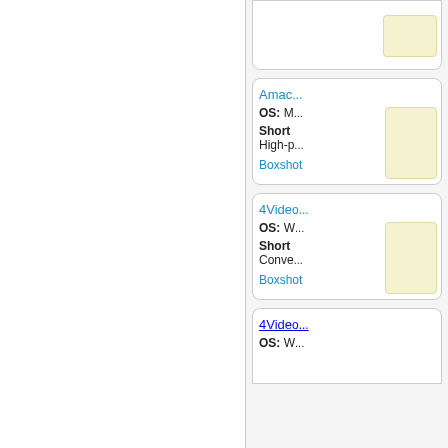[Figure (screenshot): Partial product listing card at top, cropped, showing a yellow box on right side]
Amac... OS: M Short High-p [Boxshot] [yellow box]
4Video... OS: W Short Conve [Boxshot] [yellow box]
4Video... OS: W